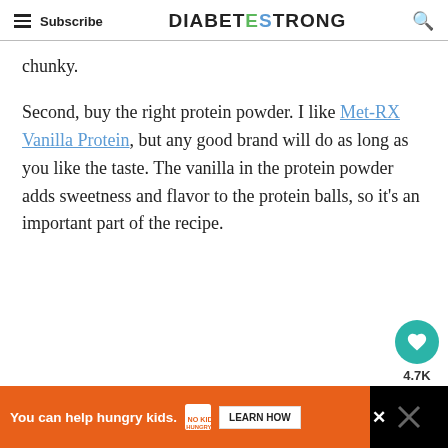Subscribe | DIABETESTRONG
chunky.
Second, buy the right protein powder. I like Met-RX Vanilla Protein, but any good brand will do as long as you like the taste. The vanilla in the protein powder adds sweetness and flavor to the protein balls, so it's an important part of the recipe.
[Figure (infographic): Heart/like button (teal circle with white heart icon) and 4.7K count label, plus a share button below]
[Figure (infographic): Advertisement banner: orange background with 'You can help hungry kids.' text, No Kid Hungry logo, and LEARN HOW button on dark background]